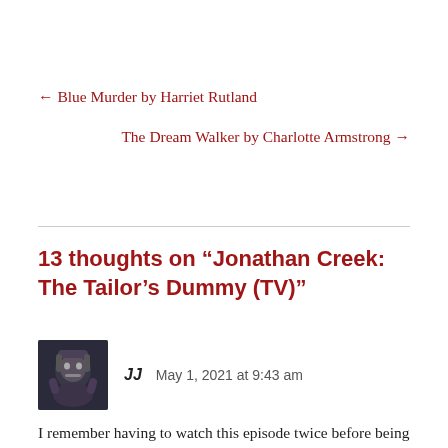← Blue Murder by Harriet Rutland
The Dream Walker by Charlotte Armstrong →
13 thoughts on “Jonathan Creek: The Tailor’s Dummy (TV)”
[Figure (photo): Avatar image of commenter JJ, a stylized dark photo of a masked figure]
JJ   May 1, 2021 at 9:43 am
I remember having to watch this episode twice before being entirely clear in my own mind what the plot